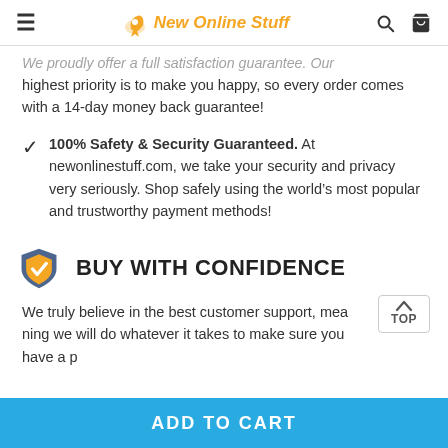New Online Stuff
We proudly offer a full satisfaction guarantee. Our highest priority is to make you happy, so every order comes with a 14-day money back guarantee!
100% Safety & Security Guaranteed. At newonlinestuff.com, we take your security and privacy very seriously. Shop safely using the world's most popular and trustworthy payment methods!
BUY WITH CONFIDENCE
We truly believe in the best customer support, meaning we will do whatever it takes to make sure you have a p
ADD TO CART